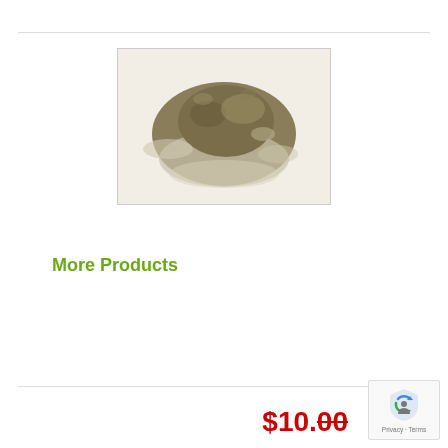[Figure (photo): A pile of olive-green/brown herbal powder on a white background, roughly circular in shape.]
More Products
$10.00
[Figure (logo): Google reCAPTCHA badge with shield icon, showing Privacy and Terms links.]